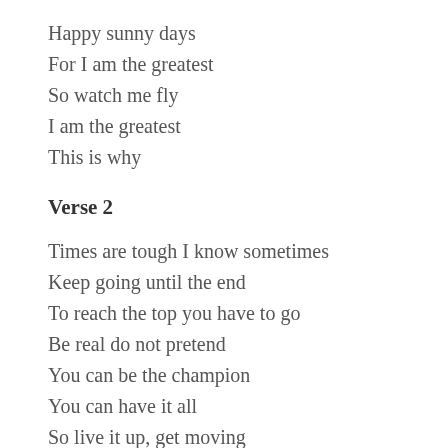Happy sunny days
For I am the greatest
So watch me fly
I am the greatest
This is why
Verse 2
Times are tough I know sometimes
Keep going until the end
To reach the top you have to go
Be real do not pretend
You can be the champion
You can have it all
So live it up, get moving
Play the game, get grooving
Say  I Am